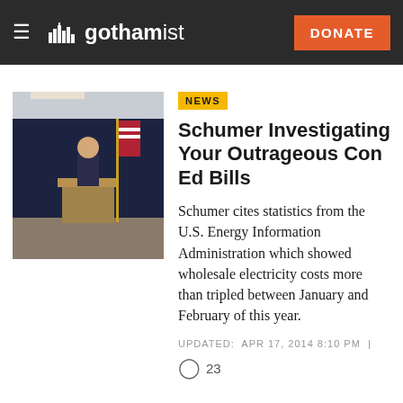gothamist — DONATE
[Figure (photo): Man at podium during a press conference with American flag in background]
NEWS
Schumer Investigating Your Outrageous Con Ed Bills
Schumer cites statistics from the U.S. Energy Information Administration which showed wholesale electricity costs more than tripled between January and February of this year.
UPDATED:  APR 17, 2014 8:10 PM  |
23